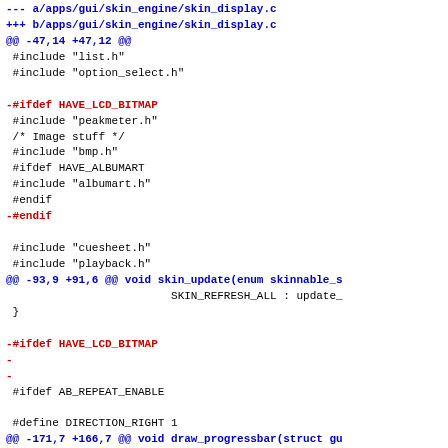--- a/apps/gui/skin_engine/skin_display.c
+++ b/apps/gui/skin_engine/skin_display.c
@@ -47,14 +47,12 @@
 #include "list.h"
 #include "option_select.h"

-#ifdef HAVE_LCD_BITMAP
 #include "peakmeter.h"
 /* Image stuff */
 #include "bmp.h"
 #ifdef HAVE_ALBUMART
 #include "albumart.h"
 #endif
-#endif

 #include "cuesheet.h"
 #include "playback.h"
@@ -93,9 +91,6 @@ void skin_update(enum skinnable_s
                         SKIN_REFRESH_ALL : update_
 }

-#ifdef HAVE_LCD_BITMAP
-
-
 #ifdef AB_REPEAT_ENABLE

 #define DIRECTION_RIGHT 1
@@ -171,7 +166,7 @@ void draw_progressbar(struct gu
      int x = pb->x, y = pb->y, width = pb->width, h
      unsigned long length, end;